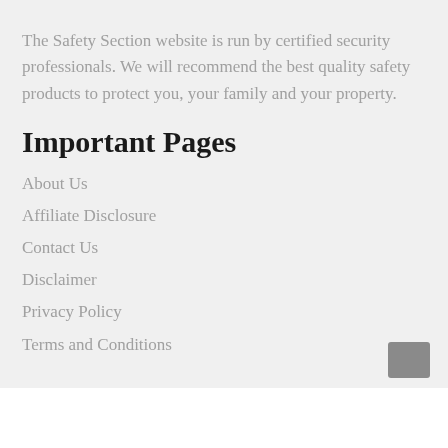The Safety Section website is run by certified security professionals. We will recommend the best quality safety products to protect you, your family and your property.
Important Pages
About Us
Affiliate Disclosure
Contact Us
Disclaimer
Privacy Policy
Terms and Conditions